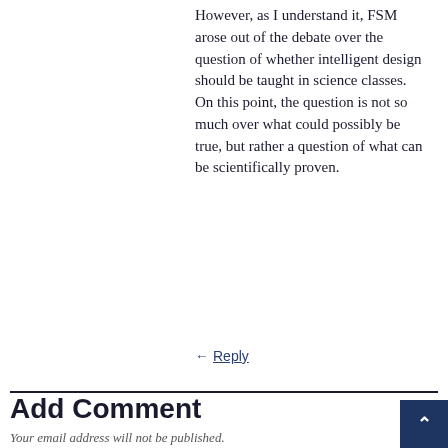However, as I understand it, FSM arose out of the debate over the question of whether intelligent design should be taught in science classes. On this point, the question is not so much over what could possibly be true, but rather a question of what can be scientifically proven.
↵ Reply
Add Comment
Your email address will not be published.